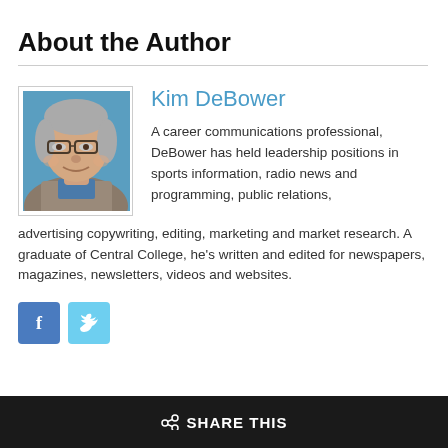About the Author
[Figure (photo): Headshot photo of Kim DeBower, a middle-aged man with gray hair and glasses, wearing glasses, smiling, with a blue background.]
Kim DeBower
A career communications professional, DeBower has held leadership positions in sports information, radio news and programming, public relations, advertising copywriting, editing, marketing and market research. A graduate of Central College, he's written and edited for newspapers, magazines, newsletters, videos and websites.
[Figure (logo): Facebook and Twitter social media icon buttons]
SHARE THIS